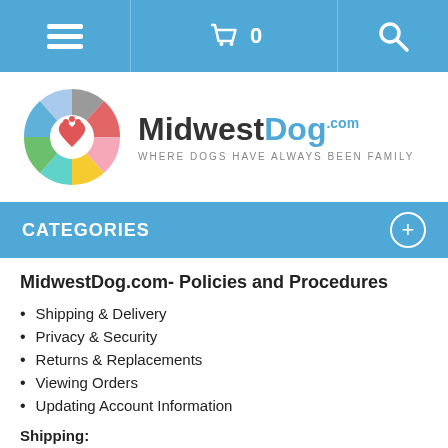Navigation bar with hamburger menu, cart (0), and search icons
[Figure (logo): MidwestDog.com logo — colorful wheel with dog-related icons on the left, 'MidwestDog.com' text on the right, tagline 'WHERE DOGS HAVE ALWAYS BEEN FAMILY']
CATEGORIES
MidwestDog.com- Policies and Procedures
Shipping & Delivery
Privacy & Security
Returns & Replacements
Viewing Orders
Updating Account Information
Shipping:
Shipping costs are automatically calculated based on product and quantity ordered and determined by UPS published rates.